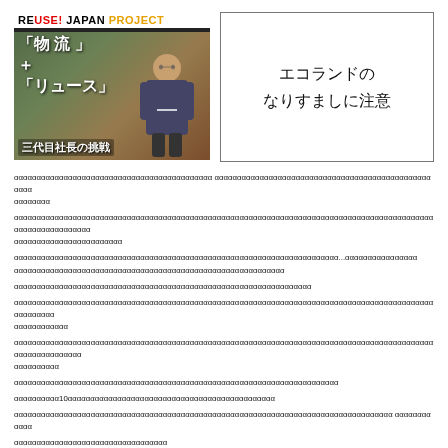[Figure (photo): REUSE! JAPAN PROJECT thumbnail image showing warehouse shelves and a man in suit, with Japanese text overlay: 「物流」+「リュース」三代目社長の挑戦]
[Figure (other): Notice box with text: エコランドの なりすましに注意]
ααααααααααααααααααααααααααααααααααααααααααα αααααααααααααααααααααααααααααααααααααααααααααααααααα αααααααα
αααααααααααααααααααααααααααααααααααααααααααααααααααααααααααααααααααααααααααααααααααααααααααααααααααααααααααα αααααααααααααααααααααααααααααααα
αααααααααααααααααααααααααααααααααααααααααααααααααααααααααααααααααααααααααα...αααααααααααααααα αααααααααααααααααααααααααααααααααααααααααααααααααααααααααα
αααααααααααααααααααααααααααααααααααααααααααααααααααααααααααααααα
αααααααααααααααααααααααααααααααααααααααααααααααααααααααααααααααααααααααααααααααααααααααααααααααααααααααααααα αααααααααααα
αααααααααααααααααααααααααααααααα10αααααααααααααααααααααααααααααααααααααααααααααα
αααααααααααααααααααααααααααααααααααααααααααααααααααααααααααααααααααααααααααααααααααααααα αααααααααααα